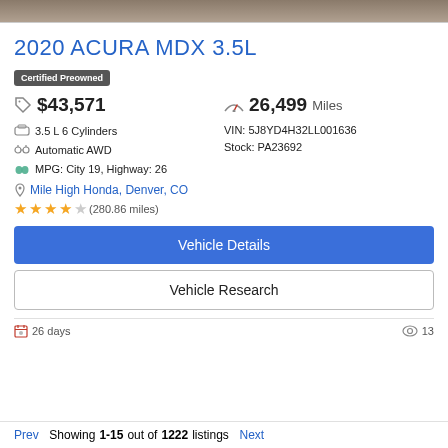[Figure (photo): Top portion of a car photo, showing the roof/exterior of a vehicle]
2020 ACURA MDX 3.5L
Certified Preowned
$43,571   26,499 Miles
3.5 L 6 Cylinders
Automatic AWD
MPG: City 19, Highway: 26
VIN: 5J8YD4H32LL001636
Stock: PA23692
Mile High Honda, Denver, CO
★★★★☆ (280.86 miles)
Vehicle Details
Vehicle Research
26 days   13
Prev  Showing 1-15 out of 1222 listings  Next